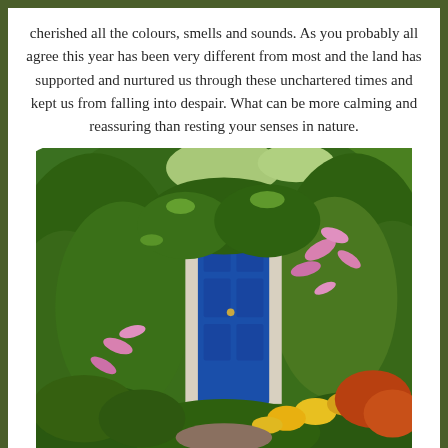cherished all the colours, smells and sounds. As you probably all agree this year has been very different from most and the land has supported and nurtured us through these unchartered times and kept us from falling into despair. What can be more calming and reassuring than resting your senses in nature.
[Figure (photo): A lush garden with a bright blue door visible through dense green foliage, climbing plants, pink flowering shrubs, and colourful flowers including yellow and orange blooms in the foreground.]